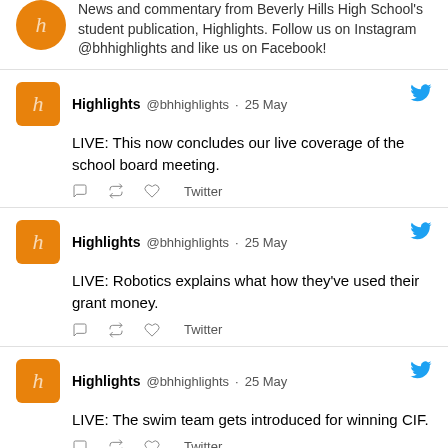News and commentary from Beverly Hills High School's student publication, Highlights. Follow us on Instagram @bhhighlights and like us on Facebook!
Highlights @bhhighlights · 25 May
LIVE: This now concludes our live coverage of the school board meeting.
Twitter
Highlights @bhhighlights · 25 May
LIVE: Robotics explains what how they've used their grant money.
Twitter
Highlights @bhhighlights · 25 May
LIVE: The swim team gets introduced for winning CIF.
Twitter